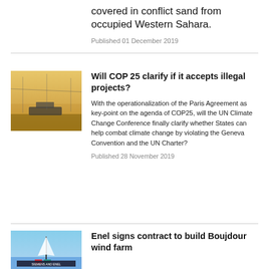covered in conflict sand from occupied Western Sahara.
Published 01 December 2019
[Figure (photo): Hazy desert landscape with vehicle silhouettes against an orange-yellow sky]
Will COP 25 clarify if it accepts illegal projects?
With the operationalization of the Paris Agreement as key-point on the agenda of COP25, will the UN Climate Change Conference finally clarify whether States can help combat climate change by violating the Geneva Convention and the UN Charter?
Published 28 November 2019
[Figure (photo): Protest scene with people holding flags and a banner reading SIEMENS AND ENEL]
Enel signs contract to build Boujdour wind farm